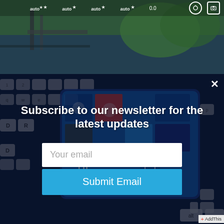[Figure (screenshot): Top strip showing a camera app UI with a landscape photo (water/dock scene) and camera controls bar showing 'auto' labels and camera icon]
[Figure (screenshot): Background photo of a laptop keyboard with a smartphone on top displaying a blue Windows Phone-style interface with app icons]
Subscribe to our newsletter for the latest updates
Your email
Submit Email
AddThis